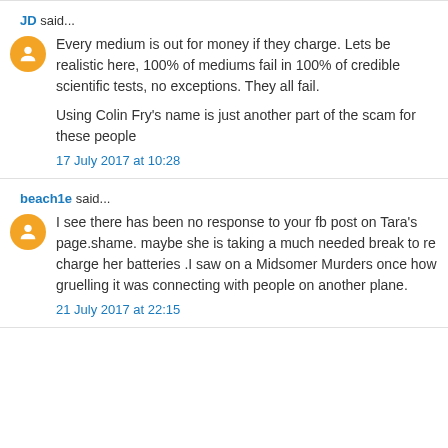JD said...
Every medium is out for money if they charge. Lets be realistic here, 100% of mediums fail in 100% of credible scientific tests, no exceptions. They all fail.

Using Colin Fry's name is just another part of the scam for these people
17 July 2017 at 10:28
beach1e said...
I see there has been no response to your fb post on Tara's page.shame. maybe she is taking a much needed break to re charge her batteries .I saw on a Midsomer Murders once how gruelling it was connecting with people on another plane.
21 July 2017 at 22:15